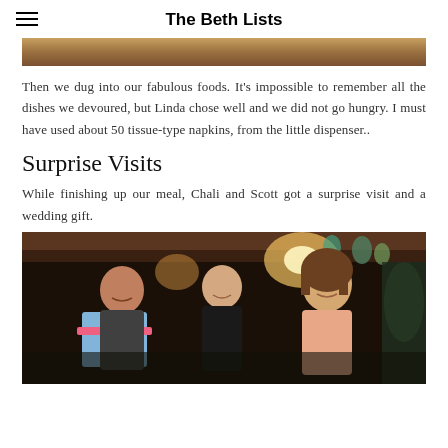The Beth Lists
[Figure (photo): Top portion of a photo cropped at the top of the page, showing food or people at a restaurant/gathering scene.]
Then we dug into our fabulous foods. It's impossible to remember all the dishes we devoured, but Linda chose well and we did not go hungry. I must have used about 50 tissue-type napkins, from the little dispenser..
Surprise Visits
While finishing up our meal, Chali and Scott got a surprise visit and a wedding gift.
[Figure (photo): Night-time photo of three people at a restaurant/outdoor venue. A woman on the left holds a blue gift box with a pink ribbon. A young woman in the center smiles, and a man on the right with longer hair wears a peach/salmon colored shirt. Decorative hanging ornaments visible in the background.]